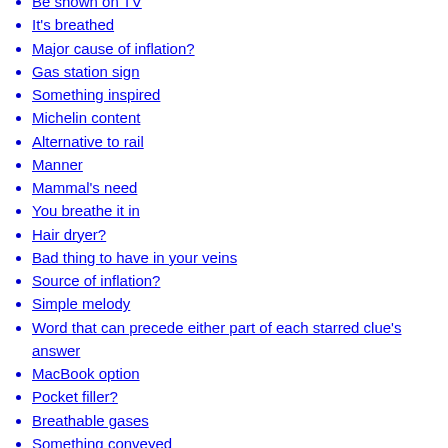Be shown on TV
It's breathed
Major cause of inflation?
Gas station sign
Something inspired
Michelin content
Alternative to rail
Manner
Mammal's need
You breathe it in
Hair dryer?
Bad thing to have in your veins
Source of inflation?
Simple melody
Word that can precede either part of each starred clue's answer
MacBook option
Pocket filler?
Breathable gases
Something conveyed